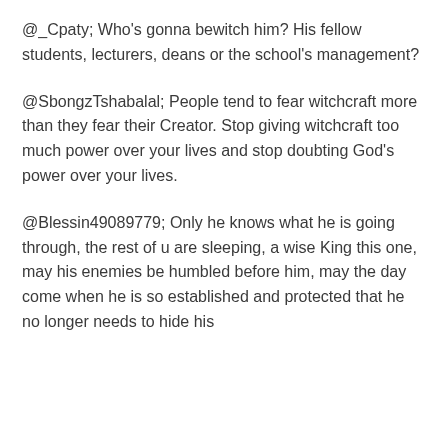@_Cpaty; Who's gonna bewitch him? His fellow students, lecturers, deans or the school's management?
@SbongzTshabalal; People tend to fear witchcraft more than they fear their Creator. Stop giving witchcraft too much power over your lives and stop doubting God's power over your lives.
@Blessin49089779; Only he knows what he is going through, the rest of u are sleeping, a wise King this one, may his enemies be humbled before him, may the day come when he is so established and protected that he no longer needs to hide his